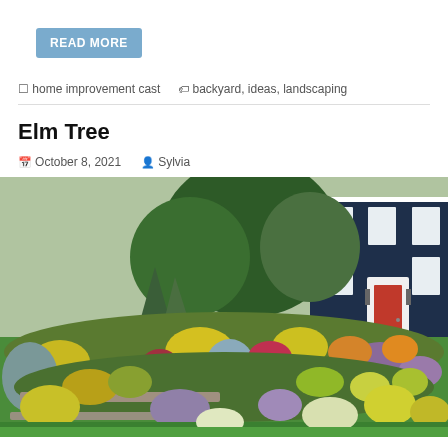READ MORE
home improvement cast   backyard, ideas, landscaping
Elm Tree
October 8, 2021   Sylvia
[Figure (photo): Colorful landscaped garden with variety of shrubs, flowers, and plants in front of a dark blue house with white trim and a red front door]